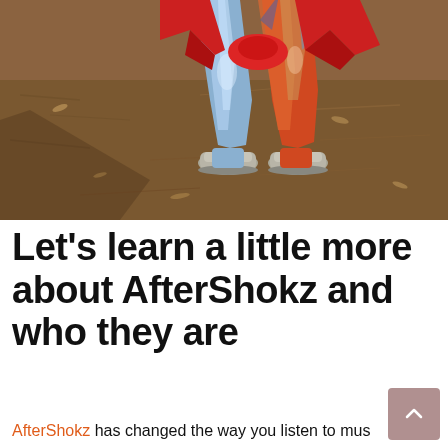[Figure (photo): Photo of a person's lower body standing on a dirt/mulch ground, wearing colorful iridescent/metallic leggings with blue and orange hues, a red top tied around the waist, and light gray sneakers. The sunlight casts a shadow to the left.]
Let's learn a little more about AfterShokz and who they are
AfterShokz has changed the way you listen to mus...